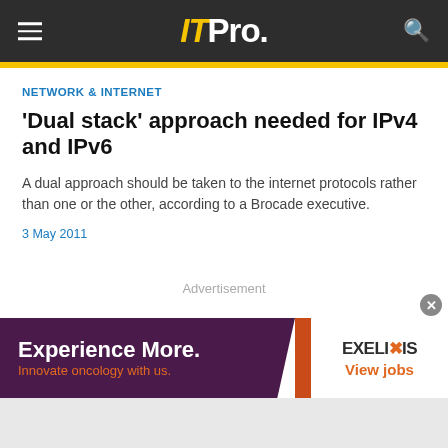ITPro.
NETWORK & INTERNET
'Dual stack' approach needed for IPv4 and IPv6
A dual approach should be taken to the internet protocols rather than one or the other, according to a Brocade executive.
3 May 2011
Advertisement
[Figure (other): Advertisement banner for Exelixis: 'Experience More. Innovate oncology with us.' with Exelixis logo and 'View jobs' link]